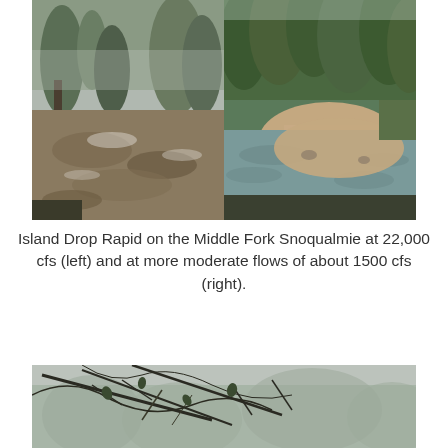[Figure (photo): Two side-by-side photos of Island Drop Rapid on the Middle Fork Snoqualmie. Left photo shows high flood flow at 22,000 cfs with turbulent brown water and trees partially submerged in misty/rainy conditions. Right photo shows moderate flow at about 1500 cfs with clearer water, a gravel bar visible, and lush green forested hillside in background.]
Island Drop Rapid on the Middle Fork Snoqualmie at 22,000 cfs (left) and at more moderate flows of about 1500 cfs (right).
[Figure (photo): A photo showing a misty, foggy forest scene with bare twisted branches and vines in the foreground and a hazy, forested hillside in the background.]